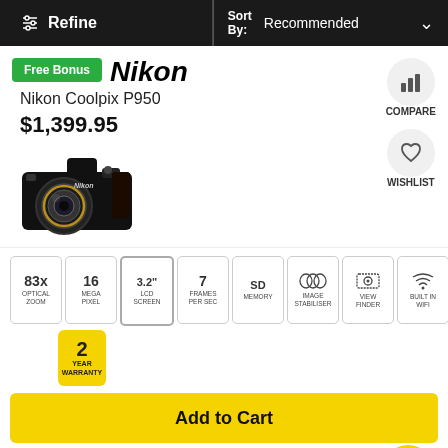Refine | Sort By: Recommended
Free Bonus
Nikon
Nikon Coolpix P950
$1,399.95
[Figure (photo): Nikon Coolpix P950 camera product image]
COMPARE
WISHLIST
83x OPTICAL ZOOM
16 MEGA PIXEL
3.2" LCD SCREEN
7 FRAMES PER SEC
SD MEMORY
IMAGE STABILISER
VIEW FINDER
BUILT IN WIFI
2 YEAR WARRANTY
Add to Cart
$15.93 per week